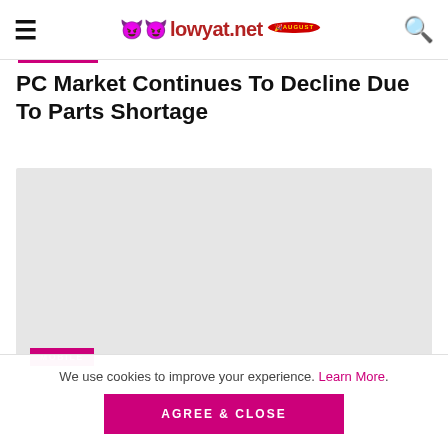lowyat.net
PC Market Continues To Decline Due To Parts Shortage
[Figure (photo): Featured article image placeholder - light grey rectangle with MOBILE category tag in pink/magenta at bottom left]
We use cookies to improve your experience. Learn More. AGREE & CLOSE